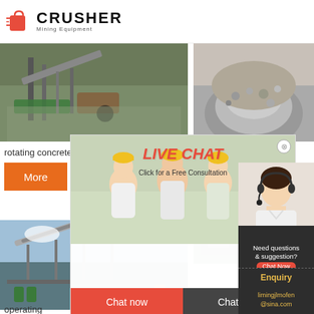[Figure (logo): Crusher Mining Equipment logo with red shopping bag icon and bold CRUSHER text]
[Figure (photo): Industrial mining/crushing plant with conveyor belts and equipment]
[Figure (photo): Pile of crushed rock/gravel with machinery]
rotating concreterock crushershear fits 35 k to
24Hrs Online
More
[Figure (infographic): Live Chat popup overlay with workers in hard hats, LIVE CHAT title, Click for a Free Consultation text, Chat now and Chat later buttons]
[Figure (photo): Industrial conveyor belt structure and mining equipment]
[Figure (photo): Industrial equipment close-up]
[Figure (photo): Customer service representative with headset]
Need questions & suggestion?
Chat Now
Enquiry
limingjlmofen@sina.com
operating